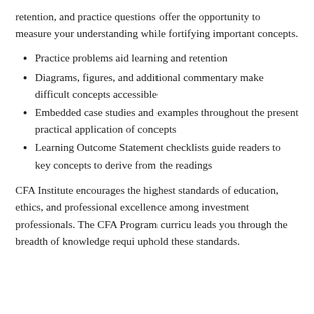retention, and practice questions offer the opportunity to measure your understanding while fortifying important concepts.
Practice problems aid learning and retention
Diagrams, figures, and additional commentary make difficult concepts accessible
Embedded case studies and examples throughout the present practical application of concepts
Learning Outcome Statement checklists guide readers to key concepts to derive from the readings
CFA Institute encourages the highest standards of education, ethics, and professional excellence among investment professionals. The CFA Program curriculum leads you through the breadth of knowledge required to uphold these standards.